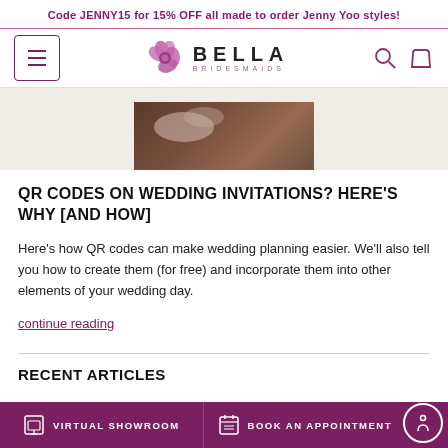Code JENNY15 for 15% OFF all made to order Jenny Yoo styles!
[Figure (logo): Bella Bridesmaids logo with purple flower graphic and brand name]
[Figure (photo): Partial wedding photo showing hands/bouquet on beige background]
QR CODES ON WEDDING INVITATIONS? HERE'S WHY [AND HOW]
Here's how QR codes can make wedding planning easier. We'll also tell you how to create them (for free) and incorporate them into other elements of your wedding day.
continue reading
RECENT ARTICLES
VIRTUAL SHOWROOM   BOOK AN APPOINTMENT